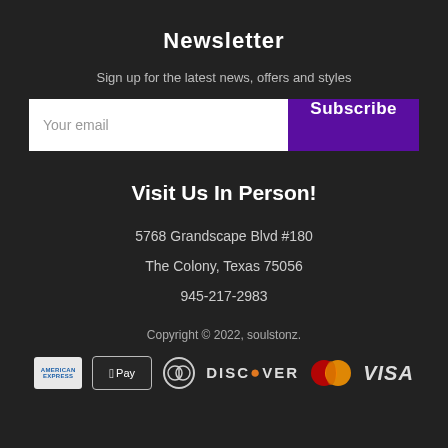Newsletter
Sign up for the latest news, offers and styles
Your email
Subscribe
Visit Us In Person!
5768 Grandscape Blvd #180
The Colony, Texas 75056
945-217-2983
Copyright © 2022, soulstonz.
[Figure (logo): Payment icons: American Express, Apple Pay, Diners Club, Discover, MasterCard, Visa]